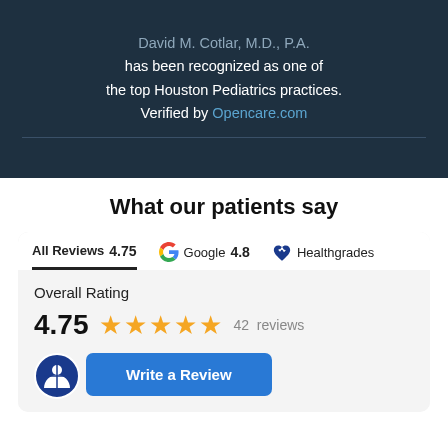David M. Cotlar, M.D., P.A. has been recognized as one of the top Houston Pediatrics practices. Verified by Opencare.com
What our patients say
All Reviews 4.75  Google 4.8  Healthgrades
Overall Rating
4.75  ★★★★★  42 reviews
Write a Review